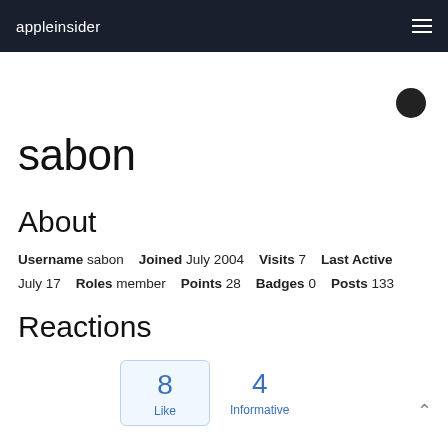appleinsider
sabon
About
Username sabon   Joined July 2004   Visits 7   Last Active July 17   Roles member   Points 28   Badges 0   Posts 133
Reactions
8 Like   4 Informative